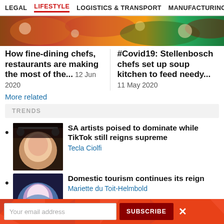LEGAL | LIFESTYLE | LOGISTICS & TRANSPORT | MANUFACTURING | PRO
[Figure (photo): Partial hero image showing food dishes, herbs and vegetables]
How fine-dining chefs, restaurants are making the most of the... 12 Jun 2020
#Covid19: Stellenbosch chefs set up soup kitchen to feed needy... 11 May 2020
More related
TRENDS
SA artists poised to dominate while TikTok still reigns supreme
Tecla Ciolfi
Domestic tourism continues its reign
Mariette du Toit-Helmbold
Africa's place in the global
Your email address | SUBSCRIBE | X